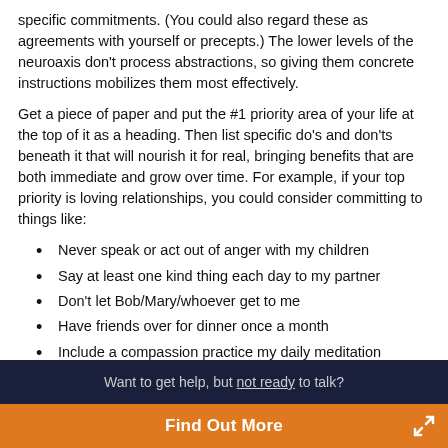specific commitments. (You could also regard these as agreements with yourself or precepts.) The lower levels of the neuroaxis don't process abstractions, so giving them concrete instructions mobilizes them most effectively.
Get a piece of paper and put the #1 priority area of your life at the top of it as a heading. Then list specific do's and don'ts beneath it that will nourish it for real, bringing benefits that are both immediate and grow over time. For example, if your top priority is loving relationships, you could consider committing to things like:
Never speak or act out of anger with my children
Say at least one kind thing each day to my partner
Don't let Bob/Mary/whoever get to me
Have friends over for dinner once a month
Include a compassion practice my daily meditation
Want to get help, but not ready to talk?
Find Out More